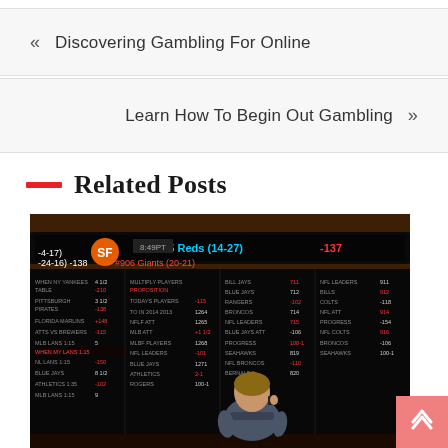« Discovering Gambling For Online
Learn How To Begin Out Gambling »
Related Posts
[Figure (photo): A person standing in front of a large sports betting board showing odds and scores in a casino sportsbook. The illuminated scoreboard displays teams including Reds (14-27) and Giants (20-21) with various odds numbers.]